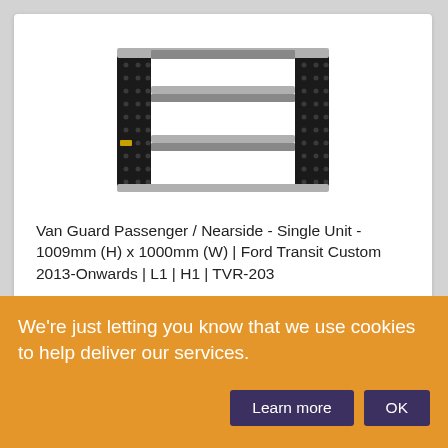[Figure (photo): A van shelving unit (Van Guard) with three shelves, black perforated side panels, and silver aluminum frame/rails, photographed at a slight angle against a white background.]
Van Guard Passenger / Nearside - Single Unit - 1009mm (H) x 1000mm (W) | Ford Transit Custom 2013- Onwards | L1 | H1 | TVR-203
We're just letting you know that we use cookies to help deliver our services.
Learn more
OK